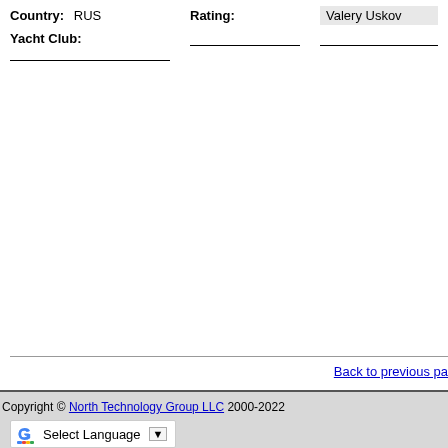Country: RUS   Rating:   Valery Uskov
Yacht Club:
Back to previous page
Copyright © North Technology Group LLC 2000-2022
Select Language